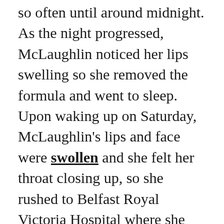so often until around midnight. As the night progressed, McLaughlin noticed her lips swelling so she removed the formula and went to sleep. Upon waking up on Saturday, McLaughlin's lips and face were swollen and she felt her throat closing up, so she rushed to Belfast Royal Victoria Hospital where she was given a topical antibiotic cream and an antihistamine to treat her symptoms.
The Kylie Lip Kit lipstick, which typically retails for $29, was bought for only $4.22 from a Facebook site, proving again that the only surefire way to know if you're getting the real deal is to buy from Kylie Jenner's eponymous